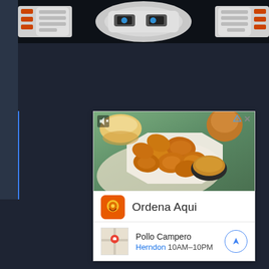[Figure (screenshot): Screenshot of a webpage with dark navy background showing a partial robot image at top and a Pollo Campero advertisement in the middle. The ad shows fried chicken pieces on a plate with dipping sauce, bread rolls, and includes 'Ordena Aqui' call-to-action with logo, and location info showing 'Pollo Campero / Herndon 10AM-10PM']